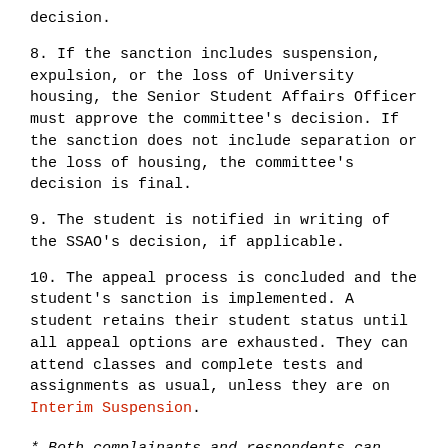decision.
8. If the sanction includes suspension, expulsion, or the loss of University housing, the Senior Student Affairs Officer must approve the committee's decision. If the sanction does not include separation or the loss of housing, the committee's decision is final.
9. The student is notified in writing of the SSAO's decision, if applicable.
10. The appeal process is concluded and the student's sanction is implemented. A student retains their student status until all appeal options are exhausted. They can attend classes and complete tests and assignments as usual, unless they are on Interim Suspension.
* Both complainants and respondents can appeal in cases involving sexual assault, sexual harassment, sexual exploitation, stalking, relationship violence, and other